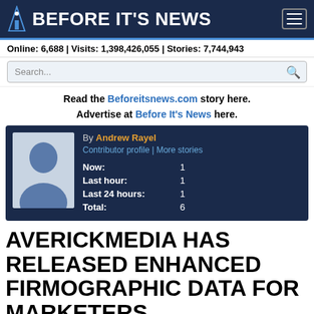BEFORE IT'S NEWS
Online: 6,688 | Visits: 1,398,426,055 | Stories: 7,744,943
Search...
Read the Beforeitsnews.com story here. Advertise at Before It's News here.
[Figure (other): Author profile card with avatar silhouette, By Andrew Rayel, Contributor profile | More stories, stats: Now:1, Last hour:1, Last 24 hours:1, Total:6]
AVERICKMEDIA HAS RELEASED ENHANCED FIRMOGRAPHIC DATA FOR MARKETERS.
Tuesday, May 25, 2021 3:40